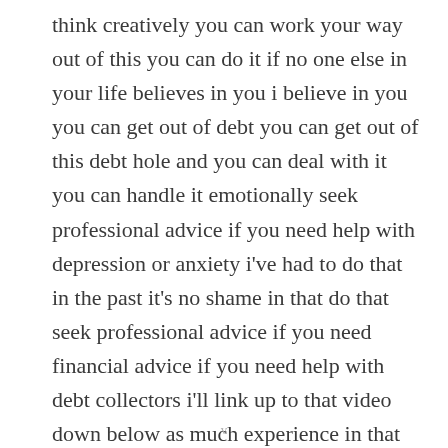think creatively you can work your way out of this you can do it if no one else in your life believes in you i believe in you you can get out of debt you can get out of this debt hole and you can deal with it you can handle it emotionally seek professional advice if you need help with depression or anxiety i've had to do that in the past it's no shame in that do that seek professional advice if you need financial advice if you need help with debt collectors i'll link up to that video down below as much experience in that but you've got this i
v